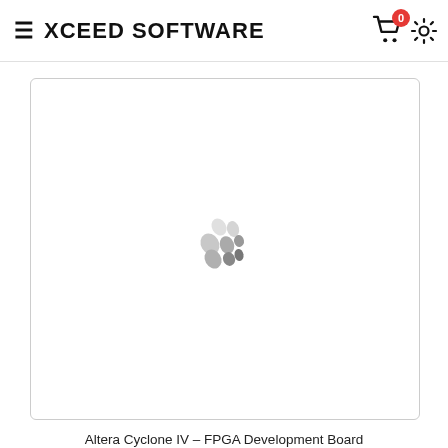XCEED SOFTWARE
[Figure (photo): Product image placeholder with spinning loader animation (gray ellipses arranged in a circular pattern) centered in a white card with border]
Altera Cyclone IV – FPGA Development Board
Rp 880.000,00